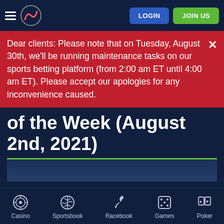Navigation bar with hamburger menu, logo, LOGIN and JOIN US buttons
Dear clients: Please note that on Tuesday, August 30th, we'll be running maintenance tasks on our sports betting platform (from 2:00 am ET until 4:00 am ET). Please accept our apologies for any inconvenience caused.
of the Week (August 2nd, 2021)
Casino | Sportsbook | Racebook | Games | Poker